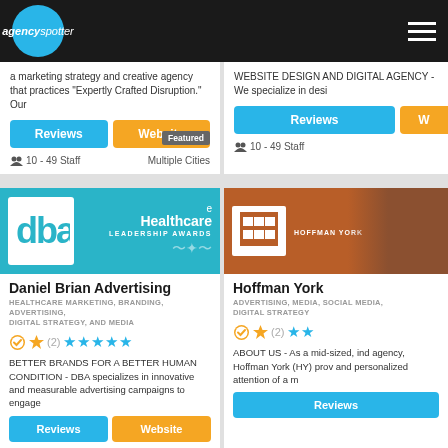[Figure (logo): Agency Spotter logo - blue circle with white text on black navigation bar]
a marketing strategy and creative agency that practices "Expertly Crafted Disruption." Our
WEBSITE DESIGN AND DIGITAL AGENCY - We specialize in desi
Reviews
Website
Reviews
W
Featured
10 - 49 Staff
Multiple Cities
10 - 49 Staff
[Figure (logo): Daniel Brian Advertising - DBA logo on teal background with eHealthcare Leadership Awards text]
[Figure (photo): Hoffman York office with HY logo on orange/brown background]
Daniel Brian Advertising
HEALTHCARE MARKETING, BRANDING, ADVERTISING, DIGITAL STRATEGY, AND MEDIA
Hoffman York
ADVERTISING, MEDIA, SOCIAL MEDIA, DIGITAL STRATEGY
(2)
(2)
BETTER BRANDS FOR A BETTER HUMAN CONDITION - DBA specializes in innovative and measurable advertising campaigns to engage
ABOUT US - As a mid-sized, ind agency, Hoffman York (HY) prov and personalized attention of a m
Reviews
Website
Reviews